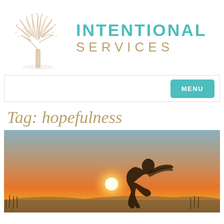[Figure (logo): Intentional Services logo: a golden/cream bare tree on the left, with 'INTENTIONAL' in teal bold uppercase and 'SERVICES' in gold spaced uppercase on the right]
[Figure (screenshot): Navigation bar with a teal MENU button on the right]
Tag: hopefulness
[Figure (photo): Sunset photo: silhouette of a woman with windswept hair holding the sun in her palm, warm orange and golden sky gradient, field in background]